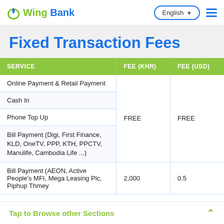Wing Bank | English | Menu
Fixed Transaction Fees
| SERVICE | FEE (KHR) | FEE (USD) |
| --- | --- | --- |
| Online Payment & Retail Payment | FREE | FREE |
| Cash In |  |  |
| Phone Top Up |  |  |
| Bill Payment (Digi, First Finance, KLD, OneTV, PPP, KTH, PPCTV, Manulife, Cambodia Life ...) |  |  |
| Bill Payment (AEON, Active People's MFI, Mega Leasing Plc, Piphup Thmey | 2,000 | 0.5 |
Tap to Browse other Sections